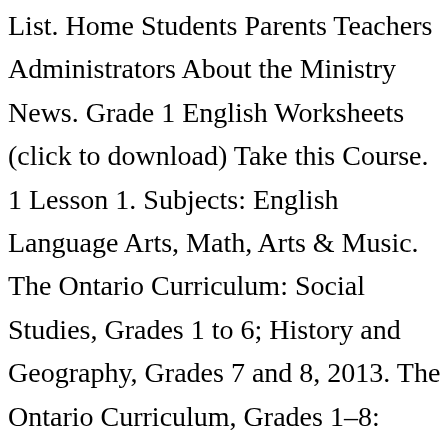List. Home Students Parents Teachers Administrators About the Ministry News. Grade 1 English Worksheets (click to download) Take this Course. 1 Lesson 1. Subjects: English Language Arts, Math, Arts & Music. The Ontario Curriculum: Social Studies, Grades 1 to 6; History and Geography, Grades 7 and 8, 2013. The Ontario Curriculum, Grades 1–8: Mathematics – Curriculum Context, 2020 559.74 KB Developed by the Ontario Ministry of Education, Open in new window Ontario Mathematics Curriculum Expectations. Grades 1–8. 2020: Strand A –